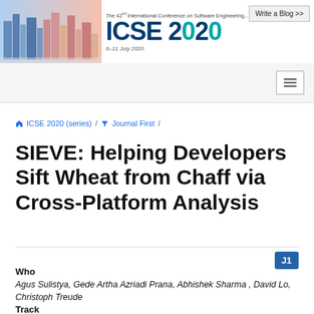The 42nd International Conference on Software Engineering · ICSE 2020 · 6-11 July 2020
Write a Blog >>
🏠 ICSE 2020 (series) / 🏠 Journal First /
SIEVE: Helping Developers Sift Wheat from Chaff via Cross-Platform Analysis
J1
Who
Agus Sulistya, Gede Artha Azriadi Prana, Abhishek Sharma , David Lo, Christoph Treude
Track